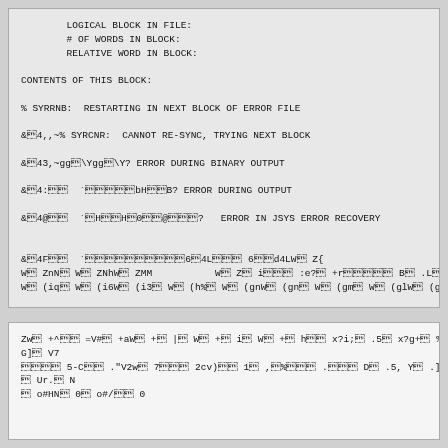LOGICAL BLOCK IN FILE:
        # OF WORDS IN BLOCK:
        RELATIVE WORD IN BLOCK:

CONTENTS OF THIS BLOCK:

% SYRRNB:  RESTARTING IN NEXT BLOCK OF ERROR FILE

&4,,~% SYRCNR:  CANNOT RE-SYNC, TRYING NEXT BLOCK

&443,~gg4\Ygg4\Y? ERROR DURING BINARY OUTPUT

&44:44  `44444bH44B? ERROR DURING OUTPUT

&44@44  `4H44H4044@444?   ERROR IN JSYS ERROR RECOVERY


&44F44  `4444444444644L444 644d4LW4 Z{
W4 ZnN4 W4 ZNhW4 ZMM           W4 Z4 i444 :e?4 +r44444 B4 .L44 m4  4+}4
W4 (iq4 W4 (i6W4 (i34 W4 (h%4 W4 (gnW4 (gn4 W4 (gm4 W4 (glW4 (gk44 bf3
Zw4 +^44 =V#4 +aW4 +4 |4 W4 +4 i4 W4 +4 h44 x?i;4 .54 x?g+4 %44 Mc%14 .4
G]4 V7
4444 5-C44 ."V2w4 7444 2cv)44 14 ,4%444 .444 D4 .5, Y4 .]4 .5, Y4 .`4
4 Ur.4 N
4 o#HN4 04 o#/44 0